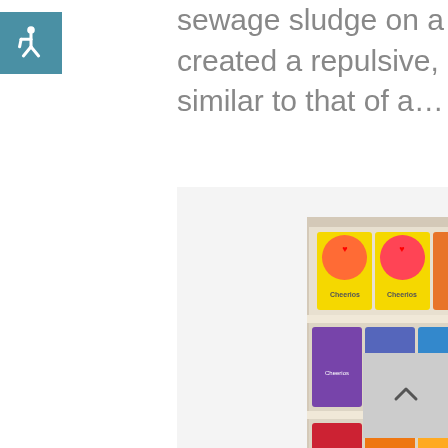[Figure (logo): Accessibility icon — white wheelchair symbol on teal/blue square background]
sewage sludge on a neighboring farm created a repulsive, nauseating stench similar to that of a…
[Figure (photo): Photo of grocery store shelves stocked with multiple varieties of Cheerios cereal boxes]
April 20, 2014  /  In Blog